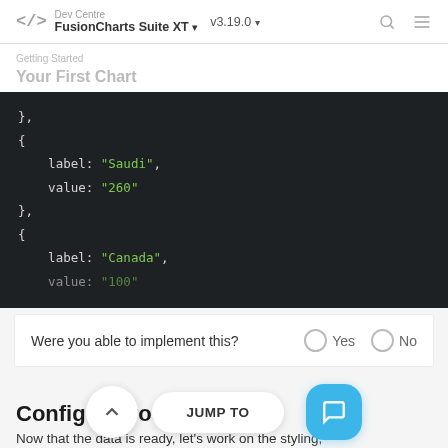</> Dev Centre FusionCharts Suite XT v3.19.0
Your First Chart
[Figure (screenshot): Dark code block showing JSON snippet with label: "Saudi", value: "260", followed by opening brace and label: "Canada", value partially visible as "100"]
Were you able to implement this?   Yes   No
Configure your chart
Now that the data is ready, let's work on the styling,